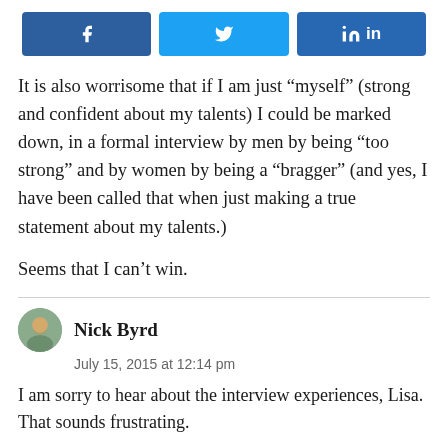[Figure (other): Social media share buttons: Facebook (blue), Twitter (light blue), LinkedIn (dark blue)]
It is also worrisome that if I am just “myself” (strong and confident about my talents) I could be marked down, in a formal interview by men by being “too strong” and by women by being a “bragger” (and yes, I have been called that when just making a true statement about my talents.)
Seems that I can’t win.
Nick Byrd
July 15, 2015 at 12:14 pm
I am sorry to hear about the interview experiences, Lisa. That sounds frustrating.
If the literature about judgments towards women